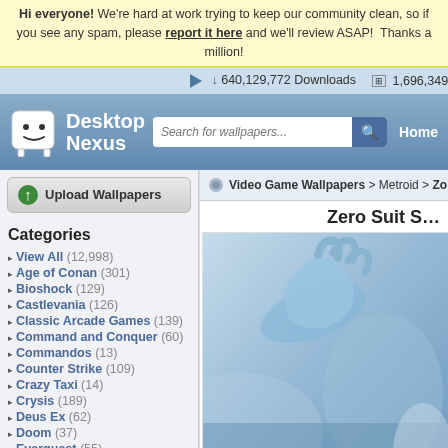Hi everyone! We're hard at work trying to keep our community clean, so if you see any spam, please report it here and we'll review ASAP! Thanks a million!
640,129,772 Downloads   1,696,349 Wa...
[Figure (logo): Desktop Nexus logo with cartoon mascot and search bar]
Upload Wallpapers
Categories
View All (12,998)
Age of Conan (301)
Bioshock (129)
Castlevania (126)
Classic Arcade Games (139)
Command and Conquer (60)
Commandos (13)
Counter Strike (109)
Crazy Taxi (14)
Crysis (189)
Deus Ex (62)
Doom (37)
Everquest (55)
Video Game Wallpapers > Metroid > Zo...
Zero Suit S...
[Figure (photo): Zero Suit Samus wallpaper showing a blue-gloved hand reaching out]